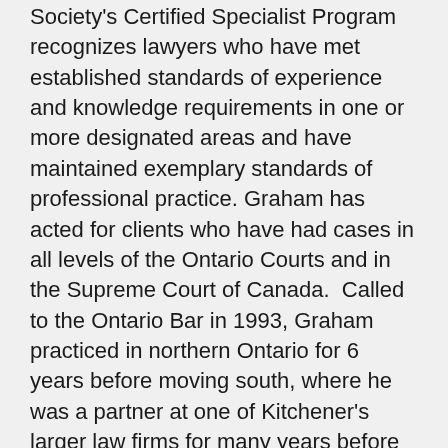Society's Certified Specialist Program recognizes lawyers who have met established standards of experience and knowledge requirements in one or more designated areas and have maintained exemplary standards of professional practice. Graham has acted for clients who have had cases in all levels of the Ontario Courts and in the Supreme Court of Canada.  Called to the Ontario Bar in 1993, Graham practiced in northern Ontario for 6 years before moving south, where he was a partner at one of Kitchener's larger law firms for many years before launching his own specialized litigation practice in Kitchener's downtown Heritage District and finally joining Lerners LLP as a partner when it expanded to the Waterloo Region in late 2020.
Graham's litigation and insurance experience includes automobile, property and casualty, municipal liability, professional liability, fire loss, occupiers' and employers' liability, and commercial litigation.  Graham has represented companies and